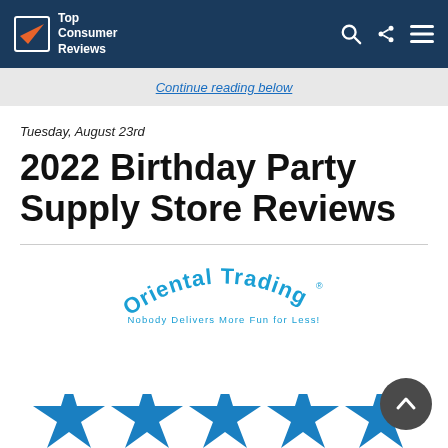Top Consumer Reviews
Continue reading below
Tuesday, August 23rd
2022 Birthday Party Supply Store Reviews
[Figure (logo): Oriental Trading logo with tagline 'Nobody Delivers More Fun for Less!']
[Figure (other): Five blue star rating icons partially visible at bottom of page]